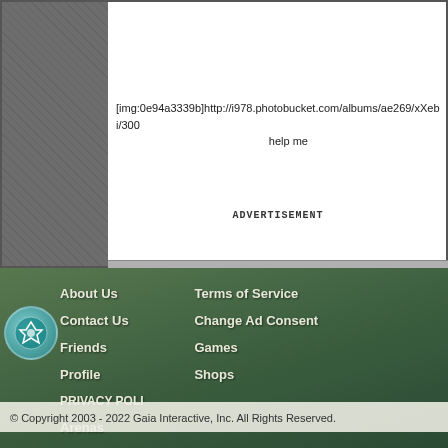[img:0e94a3339b]http://i978.photobucket.com/albums/ae269/xXebi/300... help me
ADVERTISEMENT
About Us
Contact Us
Friends
Profile
Terms of Service
Change Ad Consent
Games
Shops
PRIVACY POLI...
Arenas
Guilds
Towns
© Copyright 2003 - 2022 Gaia Interactive, Inc. All Rights Reserved.